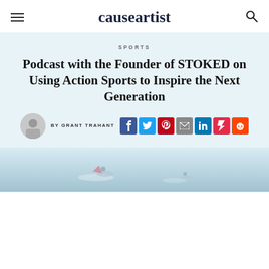causeartist
SPORTS
Podcast with the Founder of STOKED on Using Action Sports to Inspire the Next Generation
BY GRANT TRAHANT
[Figure (photo): Beach/ocean scene with surfers in misty water]
[Figure (photo): Author avatar portrait of Grant Trahant]